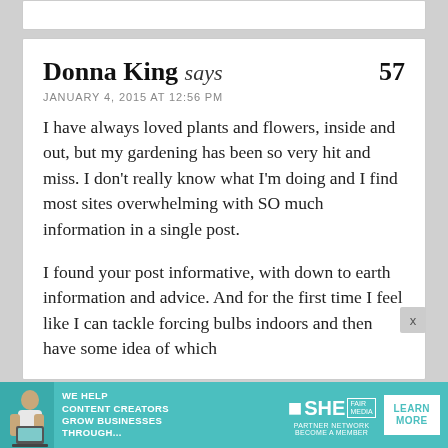Donna King says  57
JANUARY 4, 2015 AT 12:56 PM
I have always loved plants and flowers, inside and out, but my gardening has been so very hit and miss. I don’t really know what I’m doing and I find most sites overwhelming with SO much information in a single post.
I found your post informative, with down to earth information and advice. And for the first time I feel like I can tackle forcing bulbs indoors and then have some idea of which
[Figure (infographic): Advertisement banner for SHE Media Partner Network. Teal background with photo of woman, text: WE HELP CONTENT CREATORS GROW BUSINESSES THROUGH... SHE PARTNER NETWORK BECOME A MEMBER, LEARN MORE button.]